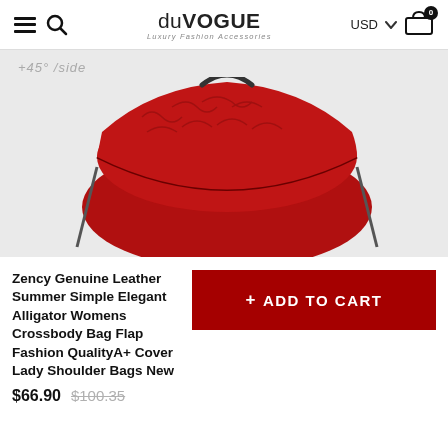duVOGUE Luxury Fashion Accessories | USD | Cart (0)
[Figure (photo): Red alligator-texture genuine leather crossbody bag with flap cover, shown at an angle. Background is light gray. Text '+45° /side' visible at top left of product image area.]
Zency Genuine Leather Summer Simple Elegant Alligator Womens Crossbody Bag Flap Fashion QualityA+ Cover Lady Shoulder Bags New
+ ADD TO CART
$66.90 $100.35